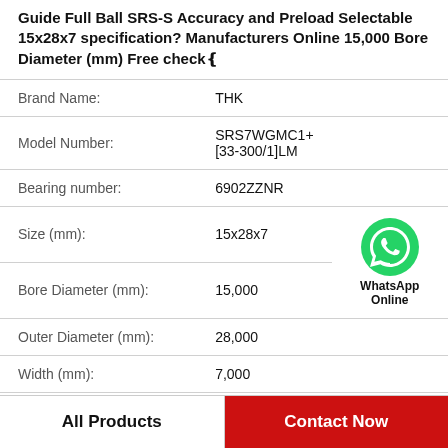Guide Full Ball SRS-S Accuracy and Preload Selectable 15x28x7 specification? Manufacturers Online 15,000 Bore Diameter (mm) Free check
| Property | Value |
| --- | --- |
| Brand Name: | THK |
| Model Number: | SRS7WGMC1+[33-300/1]LM |
| Bearing number: | 6902ZZNR |
| Size (mm): | 15x28x7 |
| Bore Diameter (mm): | 15,000 |
| Outer Diameter (mm): | 28,000 |
| Width (mm): | 7,000 |
| d: | 15,000 mm |
[Figure (logo): WhatsApp Online green phone icon with text 'WhatsApp Online']
All Products
Contact Now